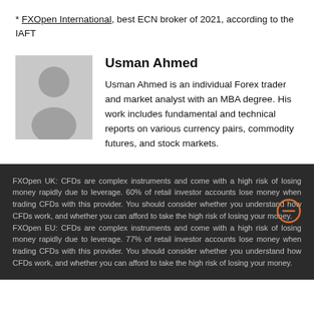* FXOpen International, best ECN broker of 2021, according to the IAFT
Usman Ahmed
Usman Ahmed is an individual Forex trader and market analyst with an MBA degree. His work includes fundamental and technical reports on various currency pairs, commodity futures, and stock markets.
FXOpen UK: CFDs are complex instruments and come with a high risk of losing money rapidly due to leverage. 60% of retail investor accounts lose money when trading CFDs with this provider. You should consider whether you understand how CFDs work, and whether you can afford to take the high risk of losing your money. FXOpen EU: CFDs are complex instruments and come with a high risk of losing money rapidly due to leverage. 77% of retail investor accounts lose money when trading CFDs with this provider. You should consider whether you understand how CFDs work, and whether you can afford to take the high risk of losing your money.